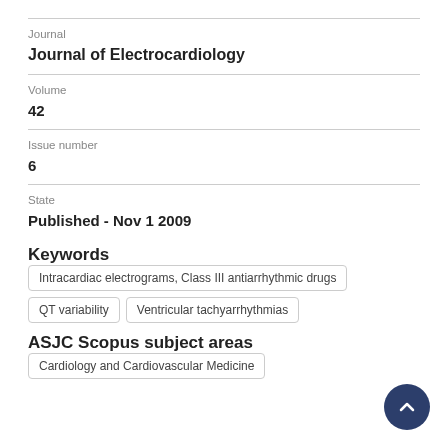Journal
Journal of Electrocardiology
Volume
42
Issue number
6
State
Published - Nov 1 2009
Keywords
Intracardiac electrograms, Class III antiarrhythmic drugs
QT variability
Ventricular tachyarrhythmias
ASJC Scopus subject areas
Cardiology and Cardiovascular Medicine